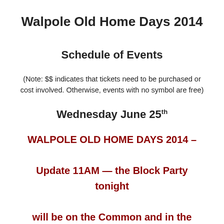Walpole Old Home Days 2014
Schedule of Events
(Note: $$ indicates that tickets need to be purchased or cost involved. Otherwise, events with no symbol are free)
Wednesday June 25th
WALPOLE OLD HOME DAYS 2014 – Update 11AM — the Block Party tonight will be on the Common and in the Town